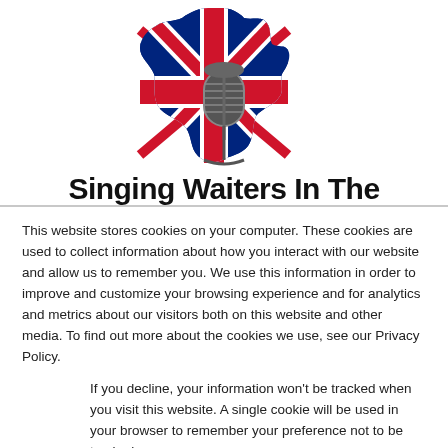[Figure (logo): UK map outline filled with Union Jack flag pattern, with a vintage microphone overlaid in the center]
Singing Waiters In The
This website stores cookies on your computer. These cookies are used to collect information about how you interact with our website and allow us to remember you. We use this information in order to improve and customize your browsing experience and for analytics and metrics about our visitors both on this website and other media. To find out more about the cookies we use, see our Privacy Policy.
If you decline, your information won't be tracked when you visit this website. A single cookie will be used in your browser to remember your preference not to be tracked.